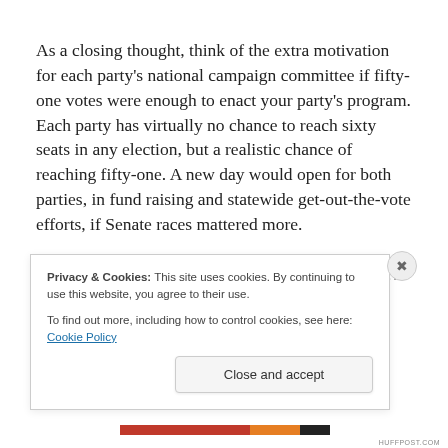As a closing thought, think of the extra motivation for each party's national campaign committee if fifty-one votes were enough to enact your party's program. Each party has virtually no chance to reach sixty seats in any election, but a realistic chance of reaching fifty-one. A new day would open for both parties, in fund raising and statewide get-out-the-vote efforts, if Senate races mattered more. Because the Senate has paralyzed itself with fake
Privacy & Cookies: This site uses cookies. By continuing to use this website, you agree to their use.
To find out more, including how to control cookies, see here: Cookie Policy
Close and accept
HUFFPOST.COM